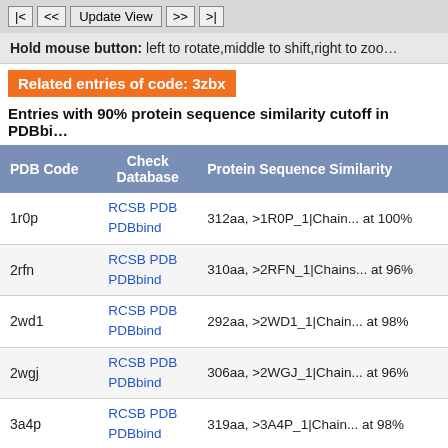|<  <<  Update View  >>  >|
Hold mouse button: left to rotate,middle to shift,right to zoom
Related entries of code: 3zbx
Entries with 90% protein sequence similarity cutoff in PDBbind
| PDB Code | Check Database | Protein Sequence Similarity |
| --- | --- | --- |
| 1r0p | RCSB PDB
PDBbind | 312aa, >1R0P_1|Chain... at 100% |
| 2rfn | RCSB PDB
PDBbind | 310aa, >2RFN_1|Chains... at 96% |
| 2wd1 | RCSB PDB
PDBbind | 292aa, >2WD1_1|Chain... at 98% |
| 2wgj | RCSB PDB
PDBbind | 306aa, >2WGJ_1|Chain... at 96% |
| 3a4p | RCSB PDB
PDBbind | 319aa, >3A4P_1|Chain... at 98% |
| 3c1x | RCSB PDB
PDBbind | 373aa, >3C1X_1|Chain... * |
| 3ccn | RCSB PDB
PDBbind | 310aa, >3CCN_1|Chain... at 96% |
| 3cd8 | RCSB PDB
PDBbind | 310aa, >3CD8_1|Chain... at 96% |
| 3ce3 | RCSB PDB
PDBbind | 314aa, >3CE3_1|Chain... at 100% |